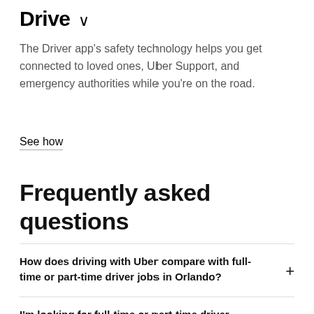Drive ∨
The Driver app's safety technology helps you get connected to loved ones, Uber Support, and emergency authorities while you're on the road.
See how
Frequently asked questions
How does driving with Uber compare with full-time or part-time driver jobs in Orlando?
I'm looking for full-time or part-time driver